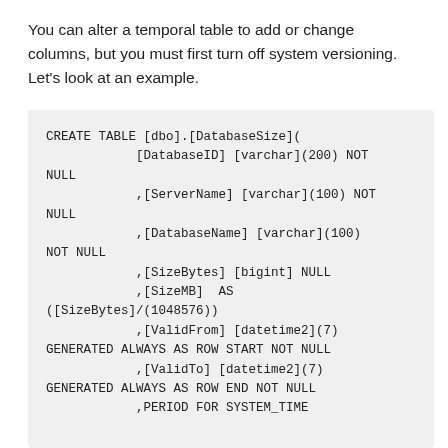You can alter a temporal table to add or change columns, but you must first turn off system versioning. Let's look at an example.